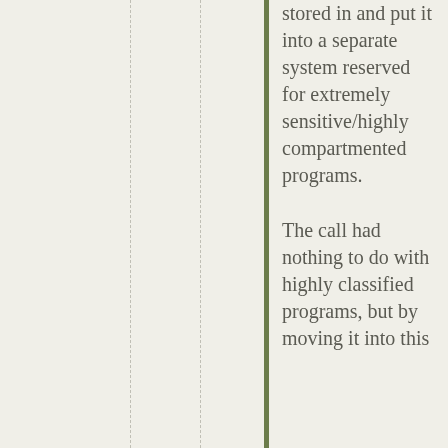stored in and put it into a separate system reserved for extremely sensitive/highly compartmented programs.
The call had nothing to do with highly classified programs, but by moving it into this